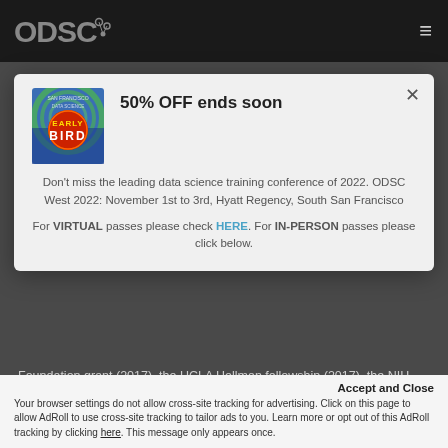[Figure (logo): ODSC logo in white on dark nav bar]
[Figure (illustration): Early Bird promotional image with blue/green swirl background and red Early Bird badge]
50% OFF ends soon
Don't miss the leading data science training conference of 2022. ODSC West 2022: November 1st to 3rd, Hyatt Regency, South San Francisco
For VIRTUAL passes please check HERE. For IN-PERSON passes please click below.
Foundation grant (2017), the UCLA Hellman fellowship (2017), the NIH
Accept and Close
Your browser settings do not allow cross-site tracking for advertising. Click on this page to allow AdRoll to use cross-site tracking to tailor ads to you. Learn more or opt out of this AdRoll tracking by clicking here. This message only appears once.